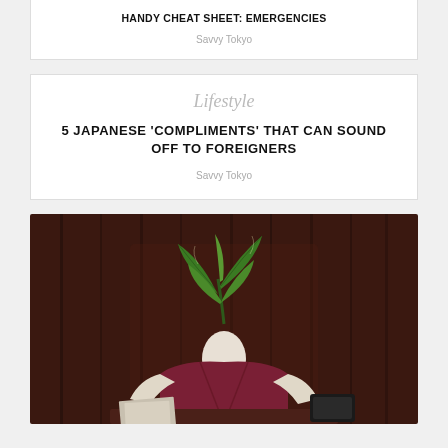HANDY CHEAT SHEET: EMERGENCIES
Savvy Tokyo
Lifestyle
5 JAPANESE 'COMPLIMENTS' THAT CAN SOUND OFF TO FOREIGNERS
Savvy Tokyo
[Figure (photo): Person sitting at a desk wearing a maroon vest and white turtleneck, with large green leafy plant growing from their neck instead of a head, against a dark wood-paneled background]